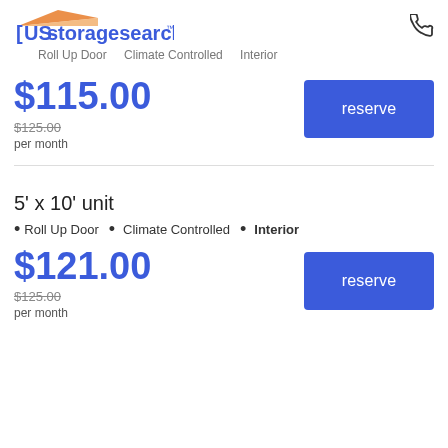USstoragesearch.com
Roll Up Door  Climate Controlled  Interior
$115.00
$125.00 per month
reserve
5' x 10' unit
Roll Up Door  •  Climate Controlled  •  Interior
$121.00
$125.00 per month
reserve